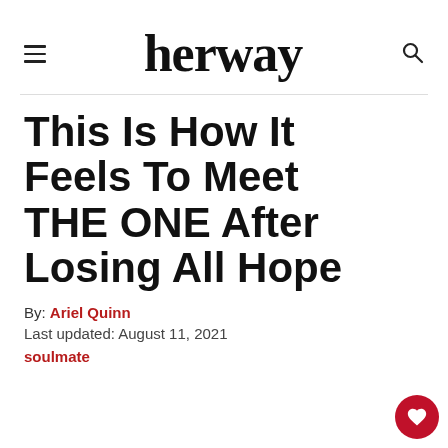herway
This Is How It Feels To Meet THE ONE After Losing All Hope
By: Ariel Quinn
Last updated: August 11, 2021
soulmate